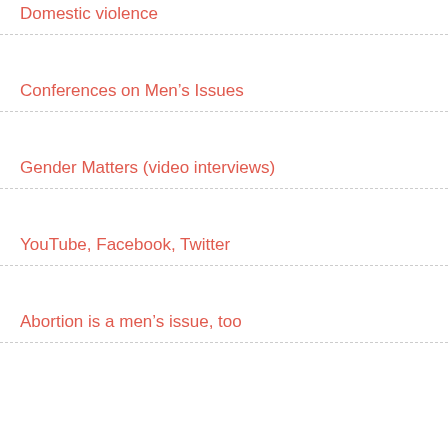Domestic violence
Conferences on Men's Issues
Gender Matters (video interviews)
YouTube, Facebook, Twitter
Abortion is a men's issue, too